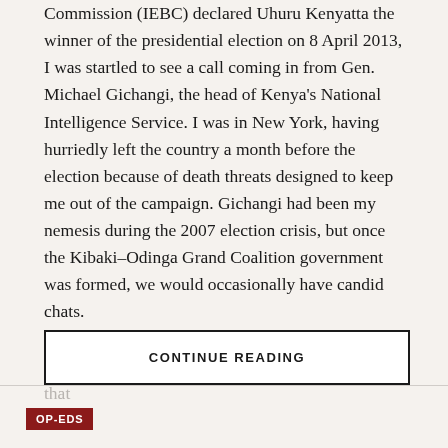Commission (IEBC) declared Uhuru Kenyatta the winner of the presidential election on 8 April 2013, I was startled to see a call coming in from Gen. Michael Gichangi, the head of Kenya's National Intelligence Service. I was in New York, having hurriedly left the country a month before the election because of death threats designed to keep me out of the campaign. Gichangi had been my nemesis during the 2007 election crisis, but once the Kibaki–Odinga Grand Coalition government was formed, we would occasionally have candid chats.
Anyway, Gen. Gichangi wanted to know how Raila would respond to the IEBC verdict. I assured him that
CONTINUE READING
OP-EDS